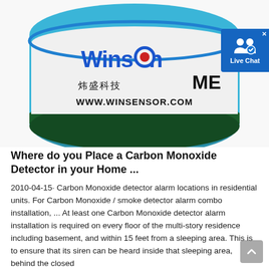[Figure (photo): Close-up photo of a cylindrical Winsen brand gas sensor/detector with blue top, white label showing 'Winsen', Chinese characters '炜盛科技', 'ME' text, and 'WWW.WINSENSOR.COM', with a Live Chat badge overlay in the top right corner.]
Where do you Place a Carbon Monoxide Detector in your Home ...
2010-04-15· Carbon Monoxide detector alarm locations in residential units. For Carbon Monoxide / smoke detector alarm combo installation, ... At least one Carbon Monoxide detector alarm installation is required on every floor of the multi-story residence including basement, and within 15 feet from a sleeping area. This is to ensure that its siren can be heard inside that sleeping area, behind the closed